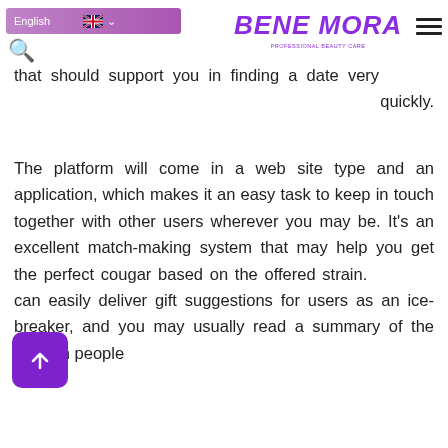English | BENE MORA PROFESSIONAL BEAUTY CARE
that should support you in finding a date very quickly.
The platform will come in a web site type and an application, which makes it an easy task to keep in touch together with other users wherever you may be. It’s an excellent match-making system that may help you get the perfect cougar based on the offered strain. You can easily deliver gift suggestions for users as an ice-breaker, and you may usually read a summary of the modern people